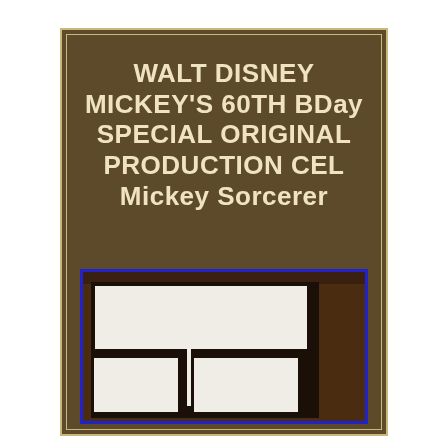WALT DISNEY MICKEY'S 60TH BDay SPECIAL ORIGINAL PRODUCTION CEL Mickey Sorcerer
[Figure (photo): Photo of a framed Walt Disney production cel artwork showing white/light-colored cel frames mounted on dark wood background, with a blue border around the photo]